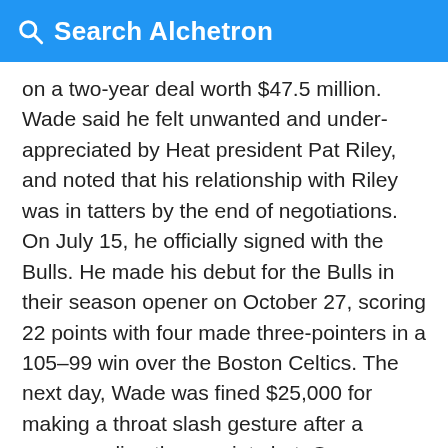Search Alchetron
on a two-year deal worth $47.5 million. Wade said he felt unwanted and under-appreciated by Heat president Pat Riley, and noted that his relationship with Riley was in tatters by the end of negotiations. On July 15, he officially signed with the Bulls. He made his debut for the Bulls in their season opener on October 27, scoring 22 points with four made three-pointers in a 105–99 win over the Boston Celtics. The next day, Wade was fined $25,000 for making a throat slash gesture after a game-sealing three-point shot. On November 4, he scored 35 points on 12-of-20 shooting in a 117–104 loss to the New York Knicks. He made five three-pointers to give him 10 in five games in 2016–17;